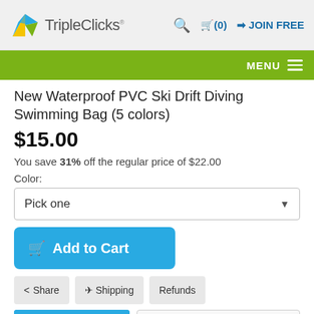TripleClicks® | Search | Cart (0) | JOIN FREE
New Waterproof PVC Ski Drift Diving Swimming Bag (5 colors)
$15.00
You save 31% off the regular price of $22.00
Color:
Pick one
Add to Cart
Share | Shipping | Refunds
ORDERS FULFILLED BY